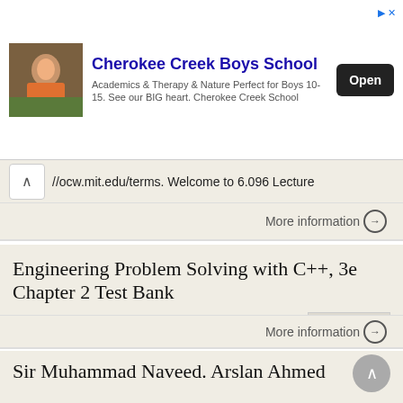[Figure (screenshot): Advertisement banner for Cherokee Creek Boys School with photo of children outdoors, bold school name, description text, and Open button]
//ocw.mit.edu/terms. Welcome to 6.096 Lecture
More information →
Engineering Problem Solving with C++, 3e Chapter 2 Test Bank
1. Match each of the following data types with literal constants of that data type. A data type can be used more than once. A. integer B 1.427E3 B. double D "Oct" C. character B -63.29 D. string F #Hashtag
More information →
Sir Muhammad Naveed. Arslan Ahmed